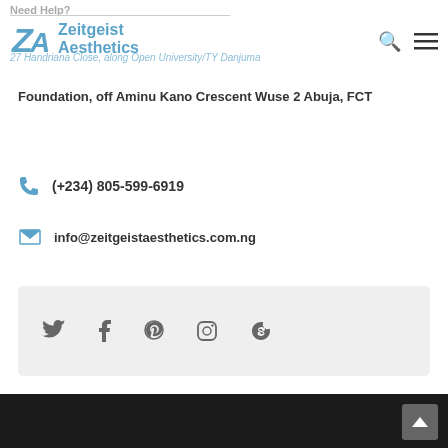Need Help?
[Figure (logo): Zeitgeist Aesthetics logo with ZA monogram in blue and brand name text]
27 Handriana Close, along Open University/TY Danjuma Foundation, off Aminu Kano Crescent Wuse 2 Abuja, FCT
(+234) 805-599-6919
info@zeitgeistaesthetics.com.ng
[Figure (infographic): Social media icons: Twitter, Facebook, Pinterest, Instagram, Skype on light grey background]